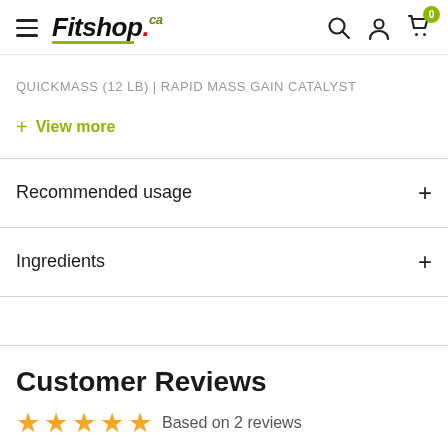Fitshop.ca — navigation header with hamburger menu, logo, search, account, and cart icons (0 items)
QUICKMASS (12 LB) | RAPID MASS GAIN CATALYST
+ View more
Recommended usage
Ingredients
Customer Reviews
Based on 2 reviews